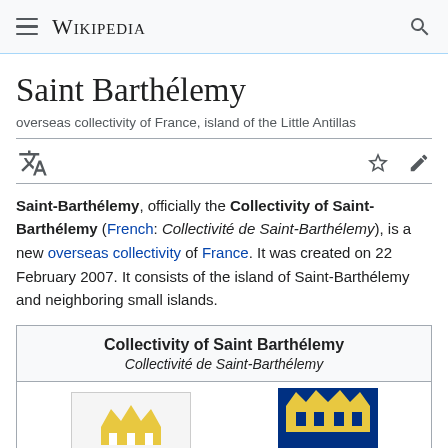Wikipedia
Saint Barthélemy
overseas collectivity of France, island of the Little Antillas
Saint-Barthélemy, officially the Collectivity of Saint-Barthélemy (French: Collectivité de Saint-Barthélemy), is a new overseas collectivity of France. It was created on 22 February 2007. It consists of the island of Saint-Barthélemy and neighboring small islands.
| Collectivity of Saint Barthélemy | Collectivité de Saint-Barthélemy |